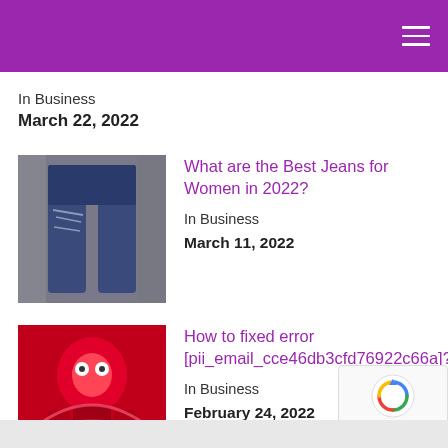In Business
March 22, 2022
[Figure (photo): Woman wearing ripped blue jeans]
What are the Best Jeans for Women in 2022?
In Business
March 11, 2022
[Figure (photo): Red stylized robot or character illustration]
How to fixed error [pii_email_cce46db3cfd76922c66a]?
In Business
February 24, 2022